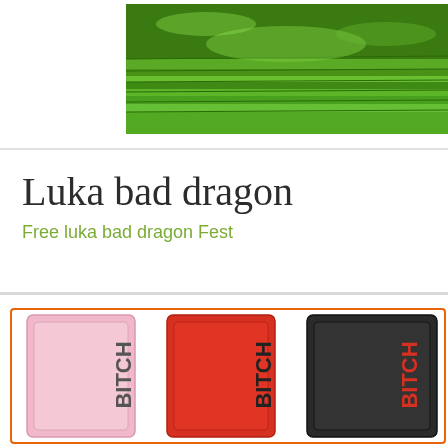[Figure (photo): Aerial view of green terraced rice fields / landscape, partially visible at top of page]
Luka bad dragon
Free luka bad dragon Fest
[Figure (photo): Three leather paddle/slapper items side by side: pink one on left, red one in center, black one on right, each with cut-out lettering reading BITCH]